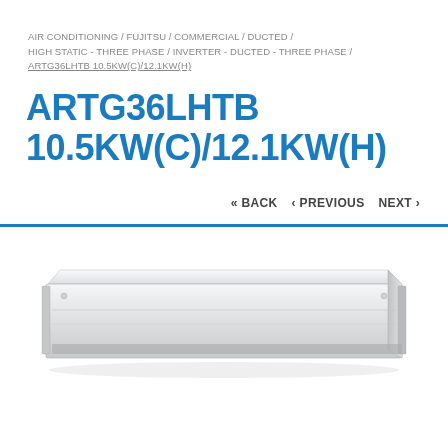AIR CONDITIONING / FUJITSU / COMMERCIAL / DUCTED / HIGH STATIC - THREE PHASE / INVERTER - DUCTED - THREE PHASE / ARTG36LHTB 10.5KW(C)/12.1KW(H)
ARTG36LHTB 10.5KW(C)/12.1KW(H)
« BACK ‹ PREVIOUS NEXT ›
[Figure (photo): Photo of a ducted air conditioning unit (ARTG36LHTB), a long flat rectangular silver/white indoor unit shown from a slight angle.]